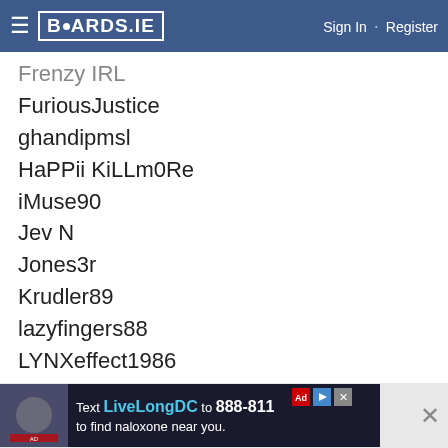BOARDS.IE  Sign In · Register
Frenzy IRL
FuriousJustice
ghandipmsl
HaPPii KiLLm0Re
iMuse90
Jev N
Jones3r
Krudler89
lazyfingers88
LYNXeffect1986
minidazzler
paddyman
petescb
PerrinV2
RossCFC88
Seamus LFC 1892
[Figure (screenshot): Advertisement banner: Text LiveLongDC to 888-811 to find naloxone near you.]